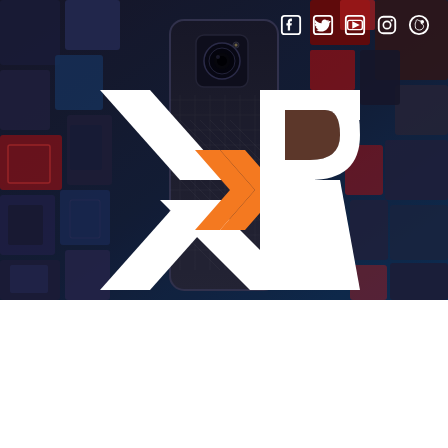[Figure (photo): Dark tech-themed background with 3D rendered metallic and red/blue cubes arranged like shelving units, a smartphone with carbon fiber back visible in center, and a large XR logo overlaid in white and orange]
[Figure (logo): Social media icons row: Facebook, Twitter, YouTube, Instagram, Weibo — white outlined icons in top-right corner]
[Figure (logo): XR logo in white and orange — large stylized letters X and R with orange chevron arrows in center]